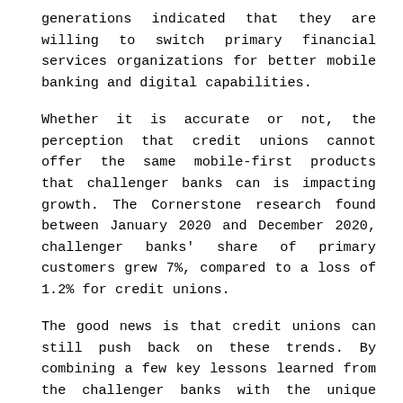generations indicated that they are willing to switch primary financial services organizations for better mobile banking and digital capabilities.
Whether it is accurate or not, the perception that credit unions cannot offer the same mobile-first products that challenger banks can is impacting growth. The Cornerstone research found between January 2020 and December 2020, challenger banks' share of primary customers grew 7%, compared to a loss of 1.2% for credit unions.
The good news is that credit unions can still push back on these trends. By combining a few key lessons learned from the challenger banks with the unique benefits specific to credit unions, these organizations can continue to grow in the new banking landscape.
Members Want 24/7 Access to Personalized Financial Services